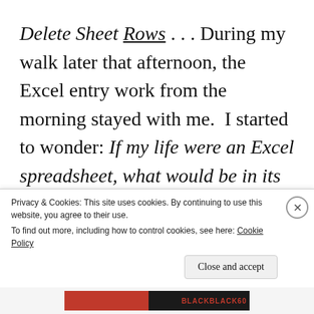Delete Sheet Rows . . . During my walk later that afternoon, the Excel entry work from the morning stayed with me.  I started to wonder: If my life were an Excel spreadsheet, what would be in its columns and its rows?  Later that evening when the house was quiet, I pulled up Excel on my laptop.
Privacy & Cookies: This site uses cookies. By continuing to use this website, you agree to their use.
To find out more, including how to control cookies, see here: Cookie Policy
Close and accept